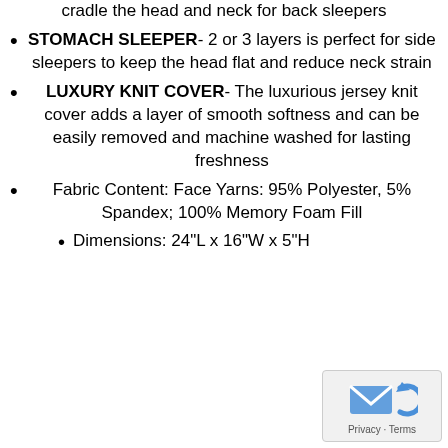cradle the head and neck for back sleepers
STOMACH SLEEPER- 2 or 3 layers is perfect for side sleepers to keep the head flat and reduce neck strain
LUXURY KNIT COVER- The luxurious jersey knit cover adds a layer of smooth softness and can be easily removed and machine washed for lasting freshness
Fabric Content: Face Yarns: 95% Polyester, 5% Spandex; 100% Memory Foam Fill
Dimensions: 24"L x 16"W x 5"H